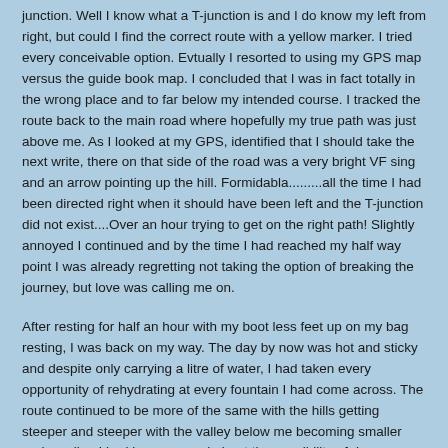junction. Well I know what a T-junction is and I do know my left from right, but could I find the correct route with a yellow marker. I tried every conceivable option. Evtually I resorted to using my GPS map versus the guide book map. I concluded that I was in fact totally in the wrong place and to far below my intended course. I tracked the route back to the main road where hopefully my true path was just above me. As I looked at my GPS, identified that I should take the next write, there on that side of the road was a very bright VF sing and an arrow pointing up the hill. Formidabla.........all the time I had been directed right when it should have been left and the T-junction did not exist....Over an hour trying to get on the right path! Slightly annoyed I continued and by the time I had reached my half way point I was already regretting not taking the option of breaking the journey, but love was calling me on.
After resting for half an hour with my boot less feet up on my bag resting, I was back on my way. The day by now was hot and sticky and despite only carrying a litre of water, I had taken every opportunity of rehydrating at every fountain I had come across. The route continued to be more of the same with the hills getting steeper and steeper with the valley below me becoming smaller and smaller. I had been warned about the possibility of dogs running loose and was always wary when passing them. During the afternoon I came across a sweet looking one that looked as though it was chained up. It never made a noise as I cautiously approached it, in fact it moved towards me and slightly behind a stone...